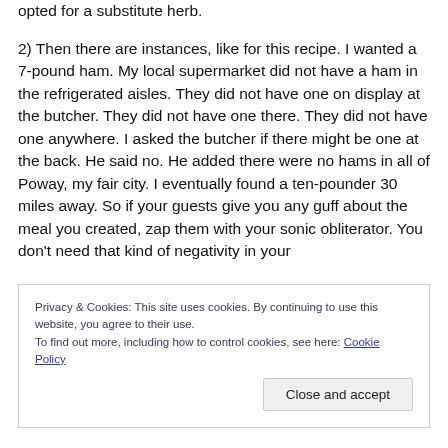opted for a substitute herb.
2) Then there are instances, like for this recipe. I wanted a 7-pound ham. My local supermarket did not have a ham in the refrigerated aisles. They did not have one on display at the butcher. They did not have one there. They did not have one anywhere. I asked the butcher if there might be one at the back. He said no. He added there were no hams in all of Poway, my fair city. I eventually found a ten-pounder 30 miles away. So if your guests give you any guff about the meal you created, zap them with your sonic obliterator. You don't need that kind of negativity in your
Privacy & Cookies: This site uses cookies. By continuing to use this website, you agree to their use.
To find out more, including how to control cookies, see here: Cookie Policy